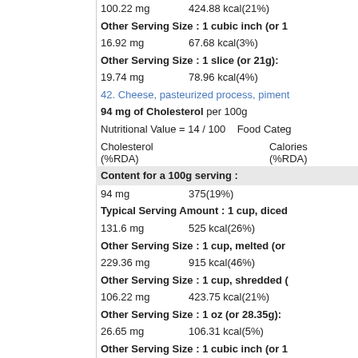100.22 mg    424.88 kcal(21%)
Other Serving Size : 1 cubic inch (or 1...
16.92 mg    67.68 kcal(3%)
Other Serving Size : 1 slice (or 21g):
19.74 mg    78.96 kcal(4%)
42. Cheese, pasteurized process, piment...
94 mg of Cholesterol per 100g
Nutritional Value = 14 / 100    Food Cate...
| Cholesterol (%RDA) | Calories (%RDA) |
| --- | --- |
Content for a 100g serving :
94 mg    375(19%)
Typical Serving Amount : 1 cup, diced...
131.6 mg    525 kcal(26%)
Other Serving Size : 1 cup, melted (or...
229.36 mg    915 kcal(46%)
Other Serving Size : 1 cup, shredded (...
106.22 mg    423.75 kcal(21%)
Other Serving Size : 1 oz (or 28.35g):
26.65 mg    106.31 kcal(5%)
Other Serving Size : 1 cubic inch (or 1...
16.92 mg    67.5 kcal(3%)
Other Serving Size : 1 slice (3/4 oz) (o...
19.74 mg    78.75 kcal(4%)
43. Cheese, gjetost - Cholesterol
94 mg of Cholesterol per 100g